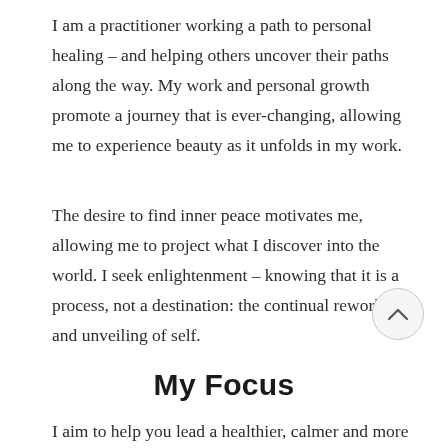I am a practitioner working a path to personal healing – and helping others uncover their paths along the way. My work and personal growth promote a journey that is ever-changing, allowing me to experience beauty as it unfolds in my work.
The desire to find inner peace motivates me, allowing me to project what I discover into the world. I seek enlightenment – knowing that it is a process, not a destination: the continual reworking and unveiling of self.
My Focus
I aim to help you lead a healthier, calmer and more